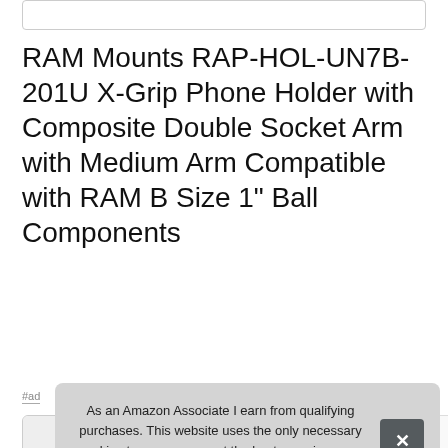RAM Mounts RAP-HOL-UN7B-201U X-Grip Phone Holder with Composite Double Socket Arm with Medium Arm Compatible with RAM B Size 1" Ball Components
#ad
[Figure (screenshot): Thumbnail images of the product in a horizontal row, partially visible]
As an Amazon Associate I earn from qualifying purchases. This website uses the only necessary cookies to ensure you get the best experience on our website. More information